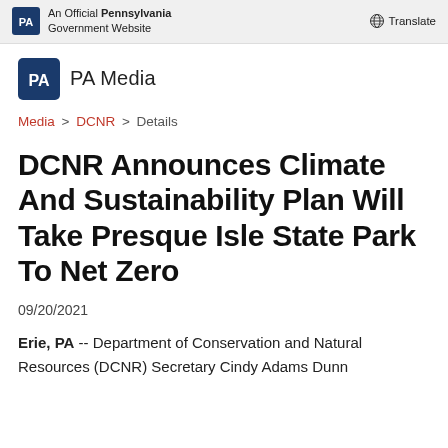An Official Pennsylvania Government Website   Translate
PA Media
Media > DCNR > Details
DCNR Announces Climate And Sustainability Plan Will Take Presque Isle State Park To Net Zero
09/20/2021
Erie, PA -- Department of Conservation and Natural Resources (DCNR) Secretary Cindy Adams Dunn